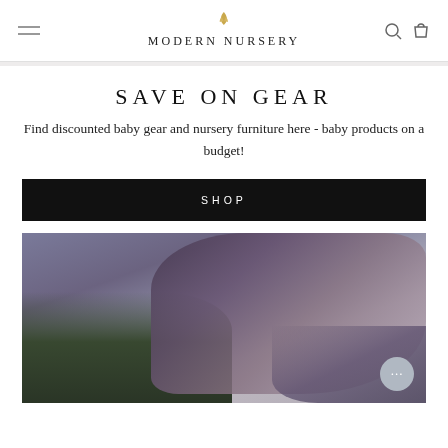MODERN NURSERY
SAVE ON GEAR
Find discounted baby gear and nursery furniture here - baby products on a budget!
SHOP
[Figure (photo): A person outdoors holding or standing near a large flowing dark fabric/scarf with trees in the background and a moody sky]